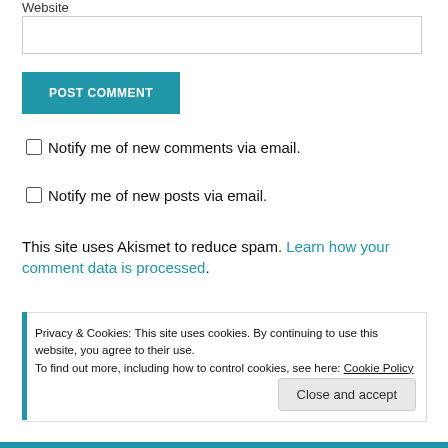Website
POST COMMENT
Notify me of new comments via email.
Notify me of new posts via email.
This site uses Akismet to reduce spam. Learn how your comment data is processed.
Privacy & Cookies: This site uses cookies. By continuing to use this website, you agree to their use.
To find out more, including how to control cookies, see here: Cookie Policy
Close and accept